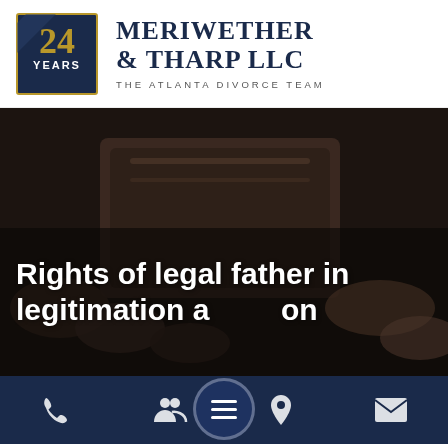[Figure (logo): Meriwether & Tharp LLC logo: a navy/gold square badge with '24 YEARS' text, alongside the firm name 'Meriwether & Tharp LLC' in dark serif font and tagline 'The Atlanta Divorce Team']
[Figure (photo): Dark close-up photo of a gavel or leather-bound book, used as a hero background image with dark overlay]
Rights of legal father in legitimation action
[Figure (infographic): Bottom navigation bar with phone, people/team, location pin, and mail icons in white on dark navy background, with a circular hamburger menu button in the center]